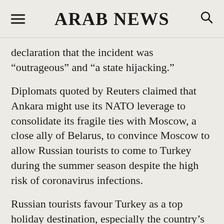ARAB NEWS
declaration that the incident was “outrageous” and “a state hijacking.”
Diplomats quoted by Reuters claimed that Ankara might use its NATO leverage to consolidate its fragile ties with Moscow, a close ally of Belarus, to convince Moscow to allow Russian tourists to come to Turkey during the summer season despite the high risk of coronavirus infections.
Russian tourists favour Turkey as a top holiday destination, especially the country’s southern provinces, more than any other country, with 7 million visitors from the country recorded in